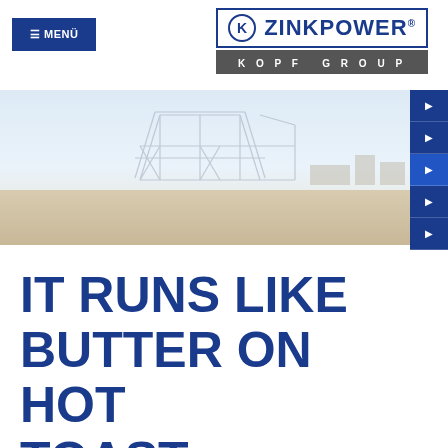≡ MENÜ
[Figure (logo): ZINKPOWER KOPF GROUP logo with circle K emblem and bordered box]
[Figure (photo): Industrial steel structure framework under construction on flat open land, light blue sky, muted sepia-toned foreground ground]
IT RUNS LIKE BUTTER ON HOT TOAST